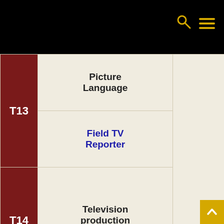Navigation bar with search and menu icons
| Code | Course Name | Date Range 1 | Date Range 2 |
| --- | --- | --- | --- |
| T13 | Picture Language
Field TV Reporter |  |  |
| T14 | Television production Fundamentals | From 27/2 To 3/3/2022 | From 19 To 23/6/2022 |
| T15 | Radio and TV Sound Engineering | From 27/2 To 3/3/2022 | From 19 To 23/6/2022 |
| T16 | Television and... |  |  |